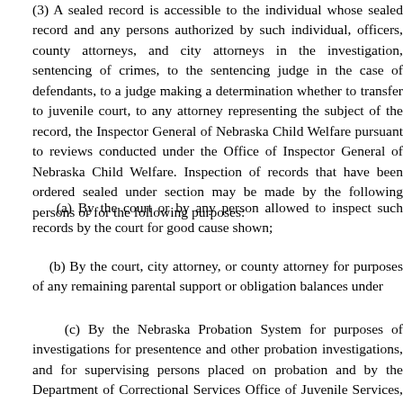(3) A sealed record is accessible to the individual whose sealed record and any persons authorized by such individual, officers, county attorneys, and city attorneys in the investigation, sentencing of crimes, to the sentencing judge in the case of defendants, to a judge making a determination whether to transfer to juvenile court, to any attorney representing the subject of the record, the Inspector General of Nebraska Child Welfare pursuant to reviews conducted under the Office of Inspector General of Nebraska Child Welfare. Inspection of records that have been ordered sealed under section may be made by the following persons or for the following purposes:
(a) By the court or by any person allowed to inspect such records by the court for good cause shown;
(b) By the court, city attorney, or county attorney for purposes of any remaining parental support or obligation balances under
(c) By the Nebraska Probation System for purposes of investigations for presentence and other probation investigations, and for supervising persons placed on probation and by the Department of Correctional Services Office of Juvenile Services, a juvenile assessment center, a juvenile facility, and all employees of all correctional offices